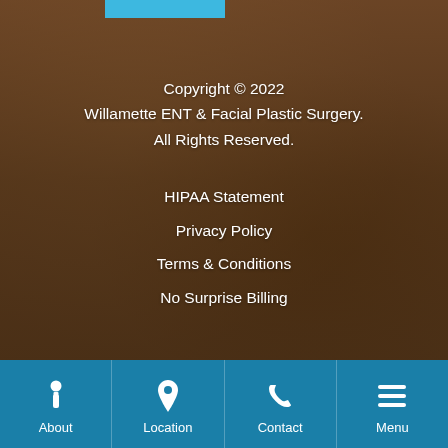[Figure (photo): Background photo of hands/medical context with warm brown tones and dark overlay]
Copyright © 2022
Willamette ENT & Facial Plastic Surgery.
All Rights Reserved.
HIPAA Statement
Privacy Policy
Terms & Conditions
No Surprise Billing
About | Location | Contact | Menu